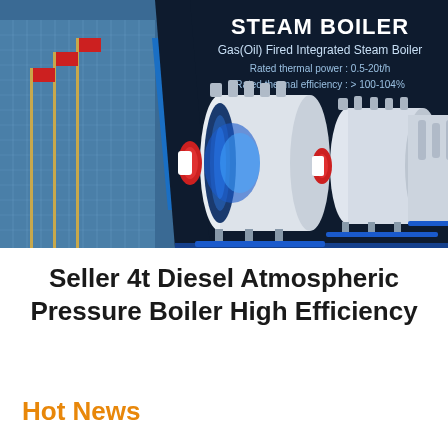[Figure (photo): Dark navy banner showing industrial steam boilers (Gas/Oil Fired Integrated Steam Boilers) on the right side with a building facade with flagpoles on the left side. Text overlay: STEAM BOILER, Gas(Oil) Fired Integrated Steam Boiler, Rated thermal power: 0.5-20t/h, Rated thermal efficiency: > 100-104%]
Seller 4t Diesel Atmospheric Pressure Boiler High Efficiency
Hot News